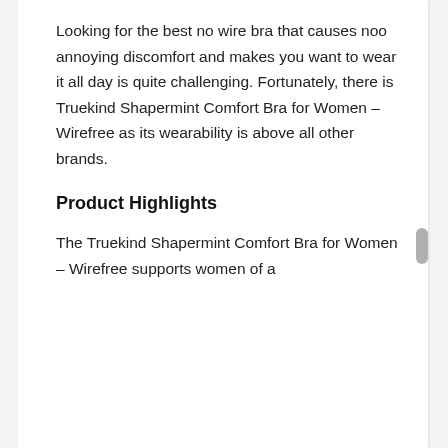Looking for the best no wire bra that causes noo annoying discomfort and makes you want to wear it all day is quite challenging. Fortunately, there is Truekind Shapermint Comfort Bra for Women – Wirefree as its wearability is above all other brands.
Product Highlights
The Truekind Shapermint Comfort Bra for Women – Wirefree supports women of a